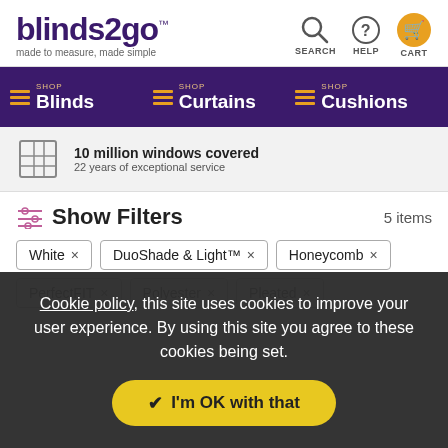blinds2go™ made to measure, made simple
[Figure (screenshot): Navigation icons: Search (magnifying glass), Help (question mark circle), Cart (orange shopping cart)]
SHOP Blinds | SHOP Curtains | SHOP Cushions
10 million windows covered. 22 years of exceptional service
Show Filters  5 items
White ×
DuoShade & Light™ ×
Honeycomb ×
PerfectFIT ×
Polyester ×
Pleated ×
Cookie policy, this site uses cookies to improve your user experience. By using this site you agree to these cookies being set.
✓ I'm OK with that